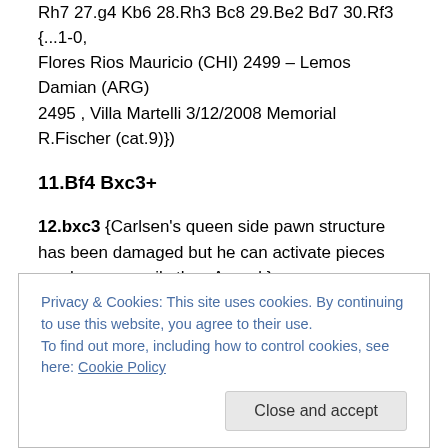Rh7 27.g4 Kb6 28.Rh3 Bc8 29.Be2 Bd7 30.Rf3 {...1-0, Flores Rios Mauricio (CHI) 2499 – Lemos Damian (ARG) 2495 , Villa Martelli 3/12/2008 Memorial R.Fischer (cat.9)})
11.Bf4 Bxc3+
12.bxc3 {Carlsen's queen side pawn structure has been damaged but he can activate pieces much more easily than Anand.}
12... Kc7 {Anand's position is cramped but has no weaknesses.}
Privacy & Cookies: This site uses cookies. By continuing to use this website, you agree to their use.
To find out more, including how to control cookies, see here: Cookie Policy